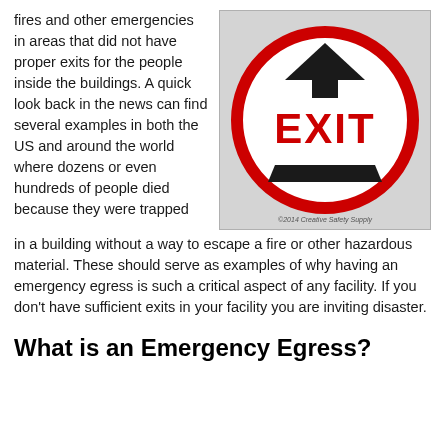fires and other emergencies in areas that did not have proper exits for the people inside the buildings.  A quick look back in the news can find several examples in both the US and around the world where dozens or even hundreds of people died because they were trapped in a building without a way to escape a fire or other hazardous material.  These should serve as examples of why having an emergency egress is such a critical aspect of any facility.  If you don't have sufficient exits in your facility you are inviting disaster.
[Figure (logo): EXIT sign logo: red circle with a dark upward arrow/triangle at top, bold red EXIT text in center, dark trapezoid bar at bottom, on grey textured background. Copyright 2014 Creative Safety Supply.]
What is an Emergency Egress?